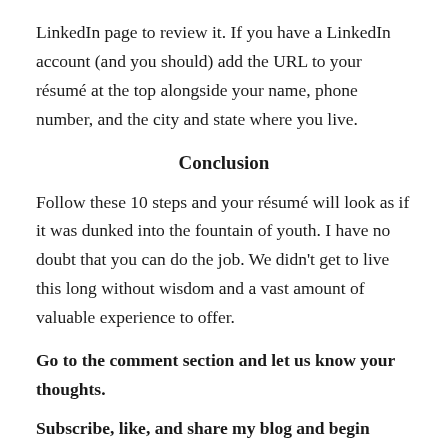LinkedIn page to review it. If you have a LinkedIn account (and you should) add the URL to your résumé at the top alongside your name, phone number, and the city and state where you live.
Conclusion
Follow these 10 steps and your résumé will look as if it was dunked into the fountain of youth. I have no doubt that you can do the job. We didn't get to live this long without wisdom and a vast amount of valuable experience to offer.
Go to the comment section and let us know your thoughts.
Subscribe, like, and share my blog and begin living your best life now.
Sign up for health & wellness stuff that really matters delivered to your inbox.